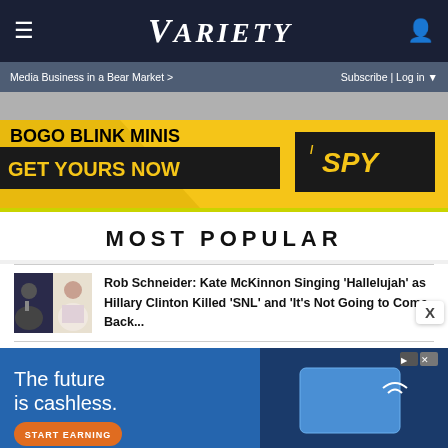VARIETY
Media Business in a Bear Market >
Subscribe | Log in
[Figure (illustration): BOGO Blink Minis advertisement banner with yellow background. Text: BOGO BLINK MINIS GET YOURS NOW, /SPY logo.]
MOST POPULAR
[Figure (photo): Thumbnail photo of two people, Rob Schneider article]
Rob Schneider: Kate McKinnon Singing 'Hallelujah' as Hillary Clinton Killed 'SNL' and 'It's Not Going to Come Back...
[Figure (illustration): The future is cashless. START EARNING advertisement banner with blue background showing a card being tapped.]